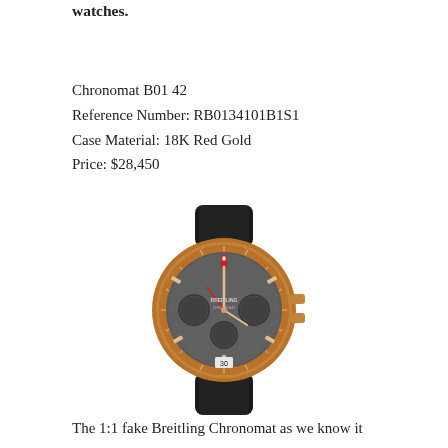watches.
Chronomat B01 42
Reference Number: RB0134101B1S1
Case Material: 18K Red Gold
Price: $28,450
[Figure (photo): Breitling Chronomat B01 42 watch in 18K Red Gold with black rubber strap and dark grey chronograph dial]
The 1:1 fake Breitling Chronomat as we know it